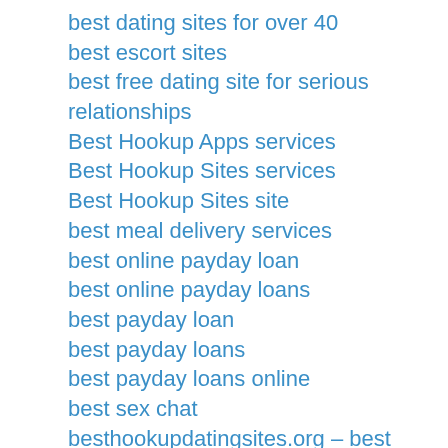best dating sites for over 40
best escort sites
best free dating site for serious relationships
Best Hookup Apps services
Best Hookup Sites services
Best Hookup Sites site
best meal delivery services
best online payday loan
best online payday loans
best payday loan
best payday loans
best payday loans online
best sex chat
besthookupdatingsites.org – best hookup